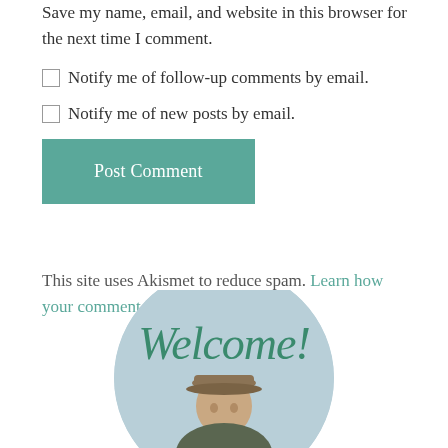Save my name, email, and website in this browser for the next time I comment.
Notify me of follow-up comments by email.
Notify me of new posts by email.
Post Comment
This site uses Akismet to reduce spam. Learn how your comment data is processed.
[Figure (photo): Welcome! text in cursive green font overlaid on a circular portrait photo of a person wearing a cap, with light blue sky background]